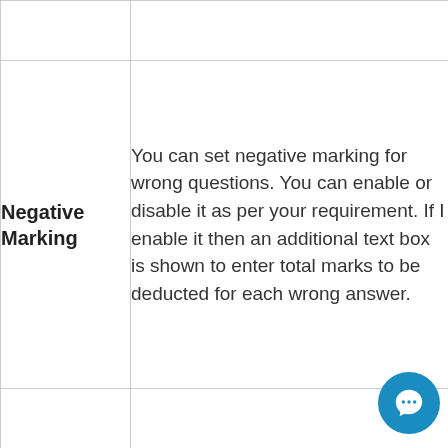|  |  |
| --- | --- |
|  |  |
| Negative Marking | You can set negative marking for wrong questions. You can enable or disable it as per your requirement. If I enable it then an additional text box is shown to enter total marks to be deducted for each wrong answer. |
|  |  |